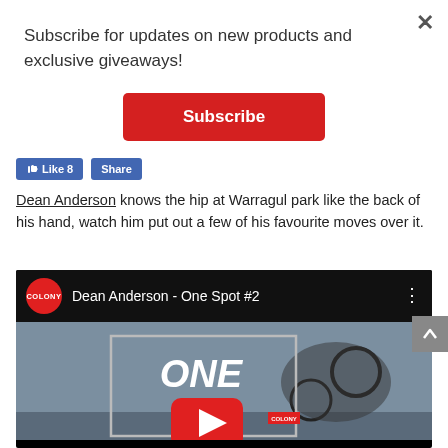Subscribe for updates on new products and exclusive giveaways!
Subscribe
[Figure (screenshot): Facebook Like and Share buttons]
Dean Anderson knows the hip at Warragul park like the back of his hand, watch him put out a few of his favourite moves over it.
[Figure (screenshot): YouTube video embed: Dean Anderson - One Spot #2 by Colony BMX channel, showing BMX trick over a hip with ONE SPOT title card and YouTube play button overlay]